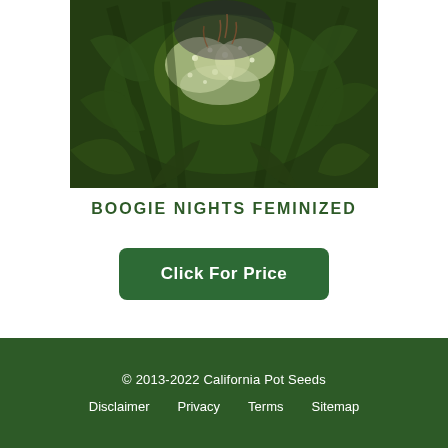[Figure (photo): Close-up photograph of a cannabis plant bud with dense green leaves covered in white trichomes and dark purple/brown pistils]
BOOGIE NIGHTS FEMINIZED
Click For Price
© 2013-2022 California Pot Seeds
Disclaimer   Privacy   Terms   Sitemap